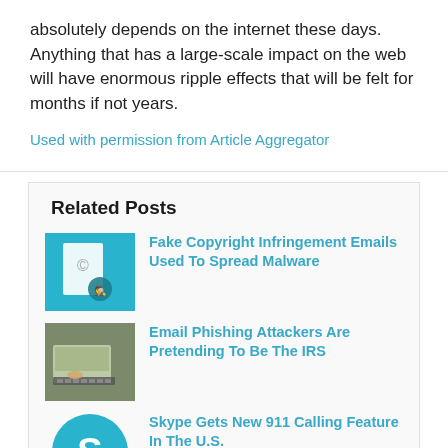absolutely depends on the internet these days. Anything that has a large-scale impact on the web will have enormous ripple effects that will be felt for months if not years.
Used with permission from Article Aggregator
Related Posts
Fake Copyright Infringement Emails Used To Spread Malware
Email Phishing Attackers Are Pretending To Be The IRS
Skype Gets New 911 Calling Feature In The U.S.